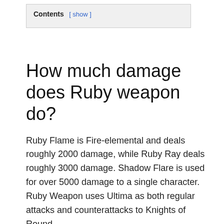Contents [ show ]
How much damage does Ruby weapon do?
Ruby Flame is Fire-elemental and deals roughly 2000 damage, while Ruby Ray deals roughly 3000 damage. Shadow Flare is used for over 5000 damage to a single character. Ruby Weapon uses Ultima as both regular attacks and counterattacks to Knights of Round.
Is Ruby Weapon hard?
Ruby Weapon hits hard, and the vulnerability